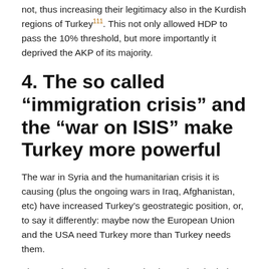not, thus increasing their legitimacy also in the Kurdish regions of Turkey¹¹¹. This not only allowed HDP to pass the 10% threshold, but more importantly it deprived the AKP of its majority.
4. The so called “immigration crisis” and the “war on ISIS” make Turkey more powerful
The war in Syria and the humanitarian crisis it is causing (plus the ongoing wars in Iraq, Afghanistan, etc) have increased Turkey’s geostrategic position, or, to say it differently: maybe now the European Union and the USA need Turkey more than Turkey needs them.
The USA have been keen on having Turkey in their anti-ISIS coalition, and Turkey was long hesitant. Turkey joined the US-led anti-ISIS coalition formally in September 2014 during a meeting at a NATO summit¹¹². As The Guardian pointed out in July 2015, “Erdoğan had focused more on thwarting Kurdish